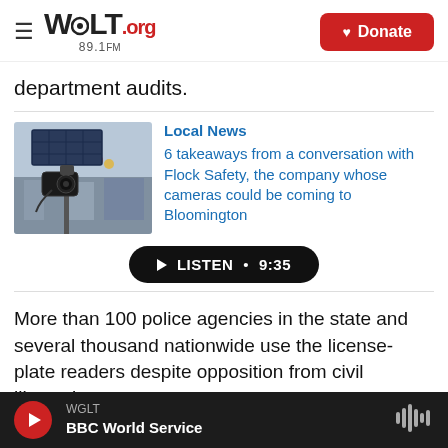WGLT.org 89.1FM | Donate
department audits.
[Figure (photo): Outdoor surveillance camera mounted on a pole with a solar panel, with blurred traffic and street scene in background]
Local News
6 takeaways from a conversation with Flock Safety, the company whose cameras could be coming to Bloomington
LISTEN • 9:35
More than 100 police agencies in the state and several thousand nationwide use the license-plate readers despite opposition from civil libertarians
WGLT BBC World Service